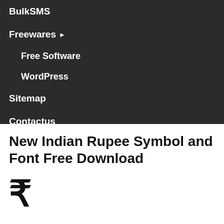BulkSMS
Freewares ▶
Free Software
WordPress
Sitemap
Contactus
New Indian Rupee Symbol and Font Free Download
₹